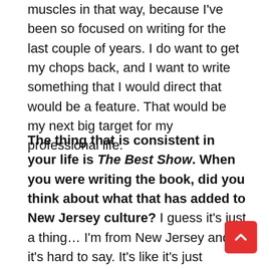muscles in that way, because I've been so focused on writing for the last couple of years. I do want to get my chops back, and I want to write something that I would direct that would be a feature. That would be my next big target for my professional life.
The thing that is consistent in your life is The Best Show. When you were writing the book, did you think about what that has added to New Jersey culture? I guess it's just a thing… I'm from New Jersey and it's hard to say. It's like it's just something that somebody from New Jersey did, and it was about someone from New Jersey. I guess it turned into a thing that's big in terms of the length of time I've been doing it, but it was always one week at a time. If somebody asked me to give account to this for half my life, I would have a...